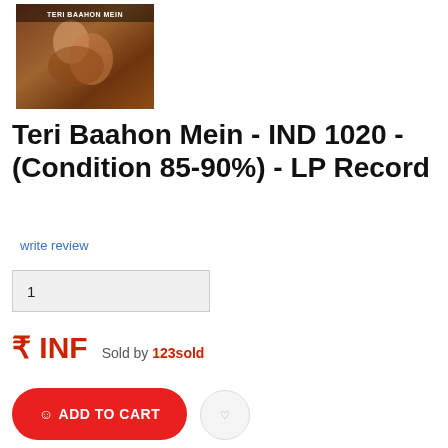[Figure (photo): Album cover photo for Teri Baahon Mein LP record, showing a film scene with actors]
Teri Baahon Mein - IND 1020 - (Condition 85-90%) - LP Record
write review
1
₹ INF Sold by 123sold
ADD TO CART